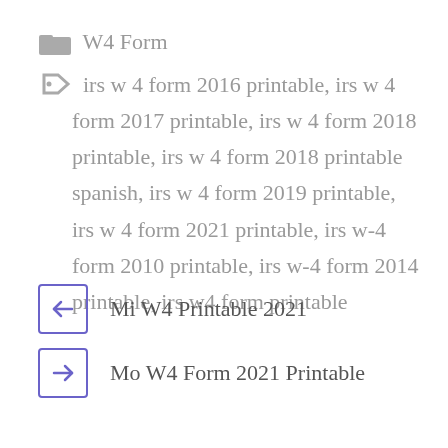W4 Form
irs w 4 form 2016 printable, irs w 4 form 2017 printable, irs w 4 form 2018 printable, irs w 4 form 2018 printable spanish, irs w 4 form 2019 printable, irs w 4 form 2021 printable, irs w-4 form 2010 printable, irs w-4 form 2014 printable, irs w4 form printable
Mi W4 Printable 2021
Mo W4 Form 2021 Printable